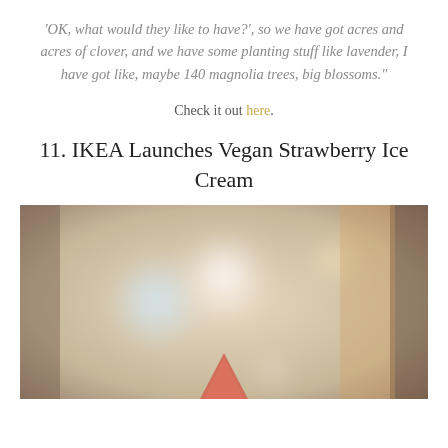'OK, what would they like to have?', so we have got acres and acres of clover, and we have some planting stuff like lavender, I have got like, maybe 140 magnolia trees, big blossoms."
Check it out here.
11. IKEA Launches Vegan Strawberry Ice Cream
[Figure (photo): A blurry bokeh photograph showing a pale warm-toned background with soft blue and white light orbs, and at the bottom center a reddish-pink ice cream cone tip is partially visible.]